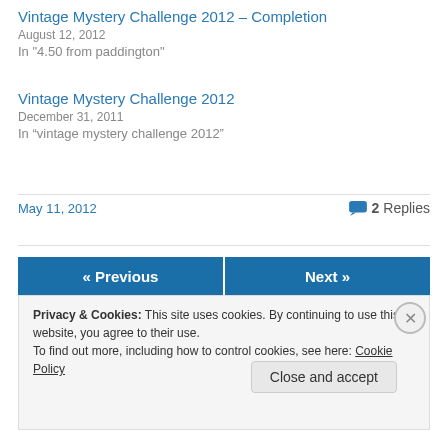Vintage Mystery Challenge 2012 – Completion
August 12, 2012
In "4.50 from paddington"
Vintage Mystery Challenge 2012
December 31, 2011
In “vintage mystery challenge 2012”
May 11, 2012
2 Replies
« Previous
Next »
Privacy & Cookies: This site uses cookies. By continuing to use this website, you agree to their use.
To find out more, including how to control cookies, see here: Cookie Policy
Close and accept